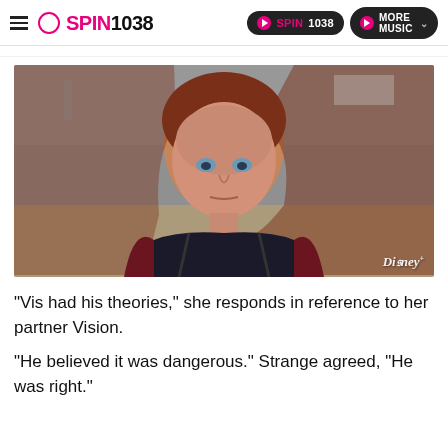SPIN1038 | SPIN1038 | MORE MUSIC
[Figure (photo): A red-haired woman with blue eyes looking surprised or concerned, wearing a dark top with a burgundy jacket. Disney+ watermark visible in bottom right corner. Background shows an outdoor urban setting.]
"Vis had his theories," she responds in reference to her partner Vision.
"He believed it was dangerous." Strange agreed, "He was right."